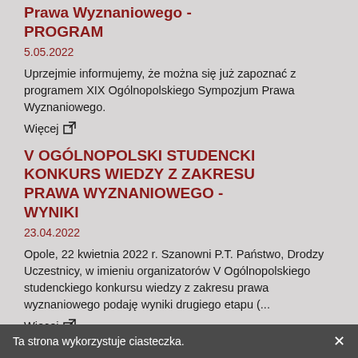Prawa Wyznaniowego - PROGRAM
5.05.2022
Uprzejmie informujemy, że można się już zapoznać z programem XIX Ogólnopolskiego Sympozjum Prawa Wyznaniowego.
Więcej
V OGÓLNOPOLSKI STUDENCKI KONKURS WIEDZY Z ZAKRESU PRAWA WYZNANIOWEGO - WYNIKI
23.04.2022
Opole, 22 kwietnia 2022 r. Szanowni P.T. Państwo, Drodzy Uczestnicy, w imieniu organizatorów V Ogólnopolskiego studenckiego konkursu wiedzy z zakresu prawa wyznaniowego podaję wyniki drugiego etapu (...
Więcej
V OGÓLNOPOLSKI STUDENCKI KONKURS WIEDZY Z ZAKRESU
Ta strona wykorzystuje ciasteczka.